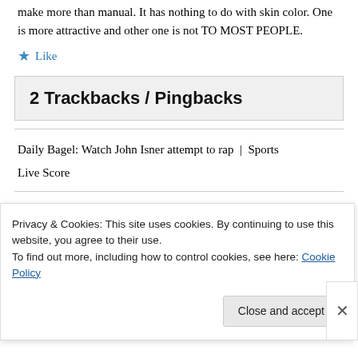make more than manual. It has nothing to do with skin color. One is more attractive and other one is not TO MOST PEOPLE.
★ Like
2 Trackbacks / Pingbacks
Daily Bagel: Watch John Isner attempt to rap | Sports Live Score
Privacy & Cookies: This site uses cookies. By continuing to use this website, you agree to their use. To find out more, including how to control cookies, see here: Cookie Policy
Close and accept